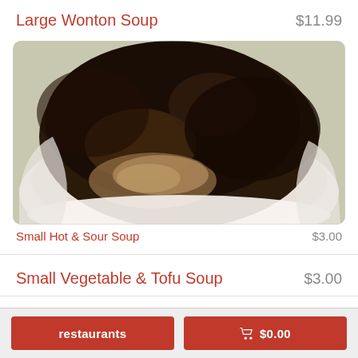Large Wonton Soup  $11.99
[Figure (photo): A bowl of soup viewed from above, with dark broth and wonton dumplings visible]
Small Hot & Sour Soup  $3.00
Small Vegetable & Tofu Soup  $3.00
Large Hot & Sour Soup  $11.99
restaurants  🛒 $0.00